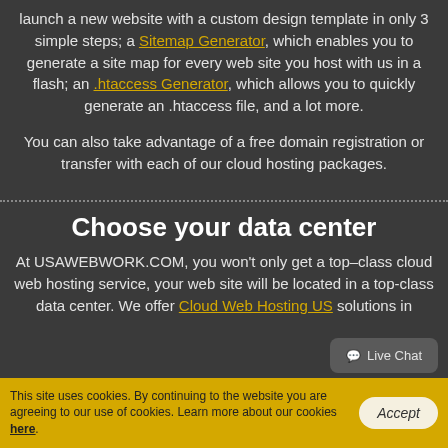launch a new website with a custom design template in only 3 simple steps; a Sitemap Generator, which enables you to generate a site map for every web site you host with us in a flash; an .htaccess Generator, which allows you to quickly generate an .htaccess file, and a lot more.
You can also take advantage of a free domain registration or transfer with each of our cloud hosting packages.
Choose your data center
At USAWEBWORK.COM, you won't only get a top–class cloud web hosting service, your web site will be located in a top-class data center. We offer Cloud Web Hosting US solutions in
This site uses cookies. By continuing to the website you are agreeing to our use of cookies. Learn more about our cookies here.